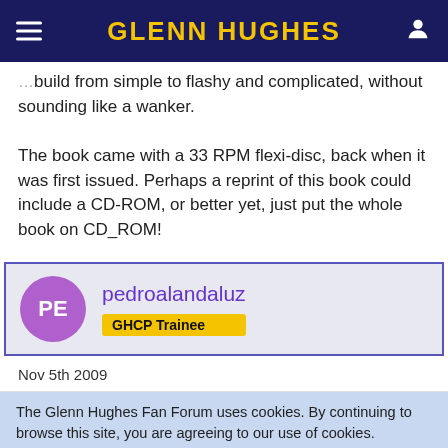GLENN HUGHES
build from simple to flashy and complicated, without sounding like a wanker.

The book came with a 33 RPM flexi-disc, back when it was first issued. Perhaps a reprint of this book could include a CD-ROM, or better yet, just put the whole book on CD_ROM!
pedroalandaluz
GHCP Trainee
Nov 5th 2009
The Glenn Hughes Fan Forum uses cookies. By continuing to browse this site, you are agreeing to our use of cookies.